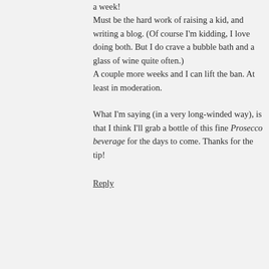a week!
Must be the hard work of raising a kid, and writing a blog. (Of course I'm kidding, I love doing both. But I do crave a bubble bath and a glass of wine quite often.)
A couple more weeks and I can lift the ban. At least in moderation.
What I'm saying (in a very long-winded way), is that I think I'll grab a bottle of this fine Prosecco beverage for the days to come. Thanks for the tip!
Reply